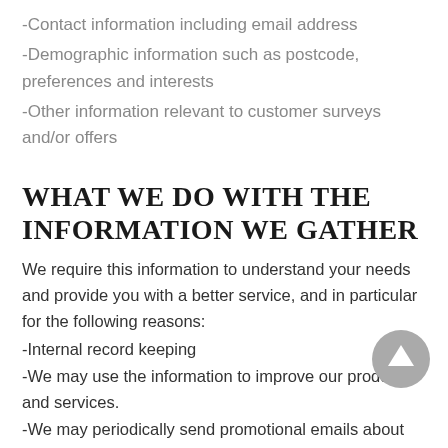-Contact information including email address
-Demographic information such as postcode, preferences and interests
-Other information relevant to customer surveys and/or offers
WHAT WE DO WITH THE INFORMATION WE GATHER
We require this information to understand your needs and provide you with a better service, and in particular for the following reasons:
-Internal record keeping
-We may use the information to improve our products and services.
-We may periodically send promotional emails about new products, special